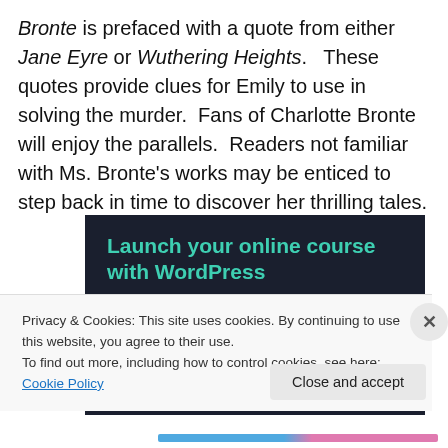Bronte is prefaced with a quote from either Jane Eyre or Wuthering Heights.   These quotes provide clues for Emily to use in solving the murder.  Fans of Charlotte Bronte will enjoy the parallels.  Readers not familiar with Ms. Bronte's works may be enticed to step back in time to discover her thrilling tales.
[Figure (other): Advertisement banner with dark background showing 'Launch your online course with WordPress' in teal text and a 'Learn More' button.]
Privacy & Cookies: This site uses cookies. By continuing to use this website, you agree to their use.
To find out more, including how to control cookies, see here: Cookie Policy
Close and accept